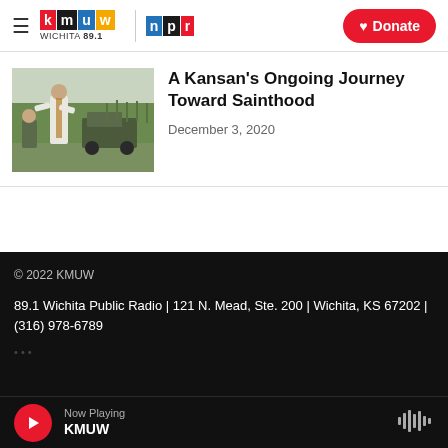KMUW Wichita 89.1 | NPR | Donate
[Figure (photo): A priest in white vestments performing an outdoor ceremony near a military jeep in a cornfield]
A Kansan's Ongoing Journey Toward Sainthood
December 3, 2020
© 2022 KMUW
89.1 Wichita Public Radio | 121 N. Mead, Ste. 200 | Wichita, KS 67202 | (316) 978-6789
Now Playing KMUW